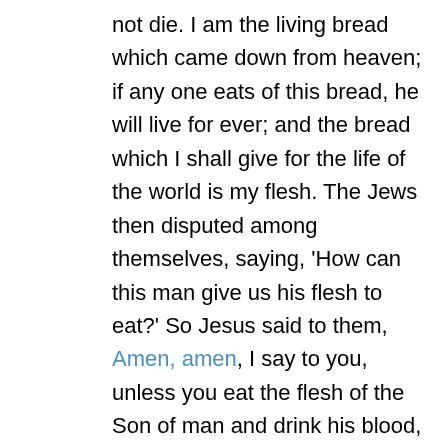not die. I am the living bread which came down from heaven; if any one eats of this bread, he will live for ever; and the bread which I shall give for the life of the world is my flesh. The Jews then disputed among themselves, saying, 'How can this man give us his flesh to eat?' So Jesus said to them, Amen, amen, I say to you, unless you eat the flesh of the Son of man and drink his blood, you have no life in you; he who eats my flesh and drinks my blood has eternal life, and I will raise him up at the last day. For my flesh is food indeed, and my blood is drink indeed. He who eats my flesh and drinks my blood abides in me, and I in him. As the living Father sent me, and I live because of the Father, so he who eats me will live because of me. This is the bread which came down from heaven, not such as the fathers ate and died; he who eats this